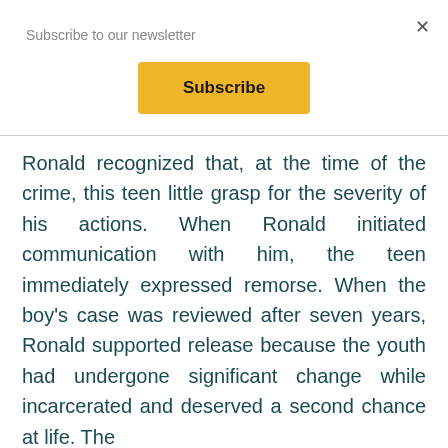Subscribe to our newsletter
Subscribe
Ronald recognized that, at the time of the crime, this teen little grasp for the severity of his actions. When Ronald initiated communication with him, the teen immediately expressed remorse. When the boy's case was reviewed after seven years, Ronald supported release because the youth had undergone significant change while incarcerated and deserved a second chance at life. The